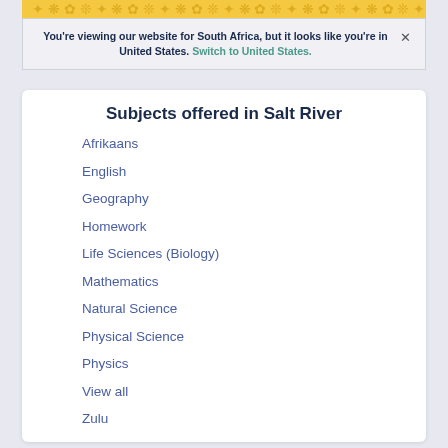[Figure (illustration): Top banner with decorative pattern on gold/yellow background]
You're viewing our website for South Africa, but it looks like you're in United States. Switch to United States. ×
Subjects offered in Salt River
Afrikaans
English
Geography
Homework
Life Sciences (Biology)
Mathematics
Natural Science
Physical Science
Physics
View all
Zulu